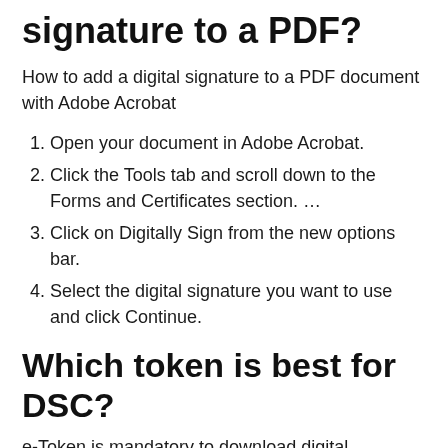signature to a PDF?
How to add a digital signature to a PDF document with Adobe Acrobat
Open your document in Adobe Acrobat.
Click the Tools tab and scroll down to the Forms and Certificates section. ...
Click on Digitally Sign from the new options bar.
Select the digital signature you want to use and click Continue.
Which token is best for DSC?
e-Token is mandatory to download digital